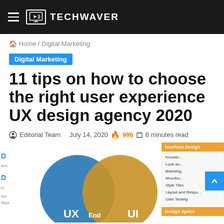TECHWAVER
Home / Digital Marketing
Digital Marketing
11 tips on how to choose the right user experience UX design agency 2020
Editorial Team · July 14, 2020 🔥 996 🏷 8 minutes read
[Figure (infographic): Venn diagram showing overlap between UX (blue circle) and UI (orange/gold circle) with End label at intersection. Partial view of diagram with sidebar showing Interface Design and Design Specs panels on the right.]